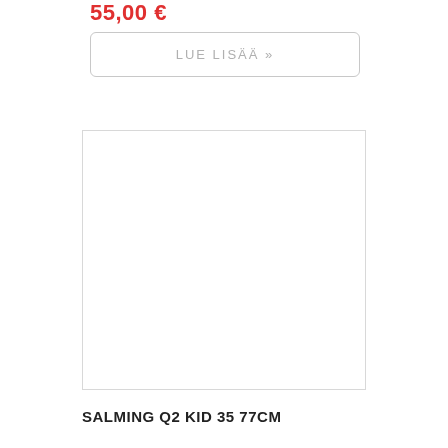55,00 €
LUE LISÄÄ »
[Figure (photo): Empty white product image placeholder with light gray border]
SALMING Q2 KID 35 77CM